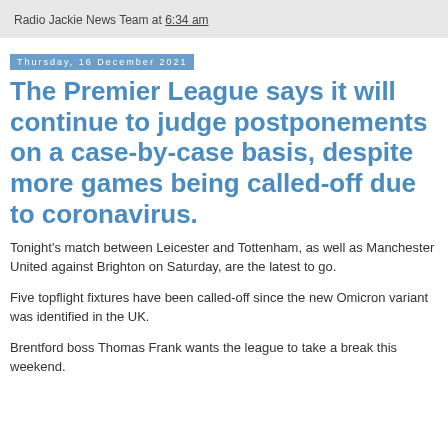Radio Jackie News Team at 6:34 am
Thursday, 16 December 2021
The Premier League says it will continue to judge postponements on a case-by-case basis, despite more games being called-off due to coronavirus.
Tonight's match between Leicester and Tottenham, as well as Manchester United against Brighton on Saturday, are the latest to go.
Five topflight fixtures have been called-off since the new Omicron variant was identified in the UK.
Brentford boss Thomas Frank wants the league to take a break this weekend.